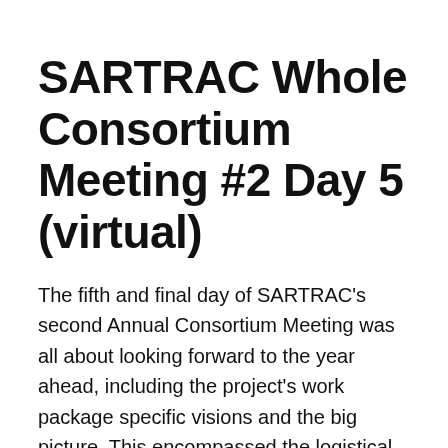SARTRAC Whole Consortium Meeting #2 Day 5 (virtual)
The fifth and final day of SARTRAC's second Annual Consortium Meeting was all about looking forward to the year ahead, including the project's work package specific visions and the big picture. This encompassed the logistical details of budgets, finance and contracts, but also discussion around how we can deliver impact and legacy, and our vision…